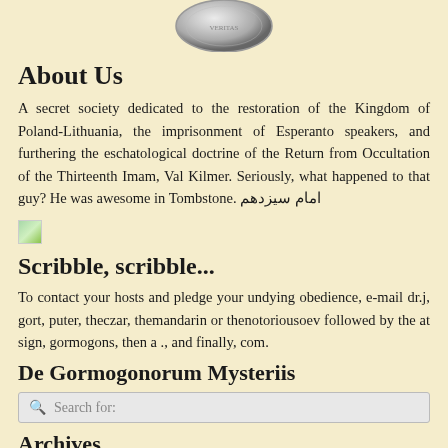[Figure (photo): Partial coin image at the top of the page, showing the bottom half of a silver/metallic coin]
About Us
A secret society dedicated to the restoration of the Kingdom of Poland-Lithuania, the imprisonment of Esperanto speakers, and furthering the eschatological doctrine of the Return from Occultation of the Thirteenth Imam, Val Kilmer. Seriously, what happened to that guy? He was awesome in Tombstone. امام سیزدهم‌
[Figure (illustration): Small broken/placeholder image icon]
Scribble, scribble...
To contact your hosts and pledge your undying obedience, e-mail dr.j, gort, puter, theczar, themandarin or thenotoriousoev followed by the at sign, gormogons, then a ., and finally, com.
De Gormogonorum Mysteriis
Search for:
Archives
August 2022
June 2022